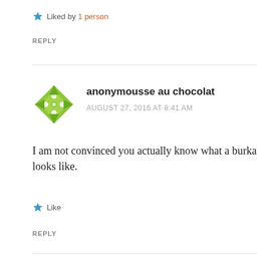Liked by 1 person
REPLY
anonymousse au chocolat
AUGUST 27, 2016 AT 8:41 AM
I am not convinced you actually know what a burka looks like.
Like
REPLY